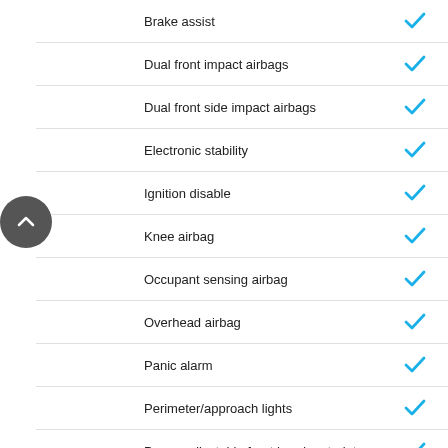Brake assist
Dual front impact airbags
Dual front side impact airbags
Electronic stability
Ignition disable
Knee airbag
Occupant sensing airbag
Overhead airbag
Panic alarm
Perimeter/approach lights
Power adjustable front head restraints
Security system
Traction control
Seats and Trim
Driver seat mounted armrest
Genuine wood console insert
Genuine wood dashboard insert
Genuine wood door panel insert